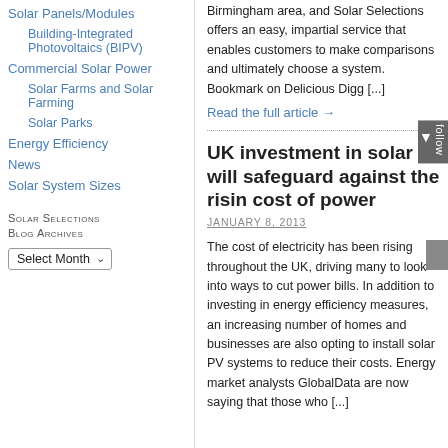Solar Panels/Modules
Building-Integrated Photovoltaics (BIPV)
Commercial Solar Power
Solar Farms and Solar Farming
Solar Parks
Energy Efficiency
News
Solar System Sizes
Solar Selections Blog Archives
Birmingham area, and Solar Selections offers an easy, impartial service that enables customers to make comparisons and ultimately choose a system. Bookmark on Delicious Digg [...]
Read the full article →
UK investment in solar will safeguard against the rising cost of power
JANUARY 8, 2013
The cost of electricity has been rising throughout the UK, driving many to look into ways to cut power bills. In addition to investing in energy efficiency measures, an increasing number of homes and businesses are also opting to install solar PV systems to reduce their costs. Energy market analysts GlobalData are now saying that those who [...]